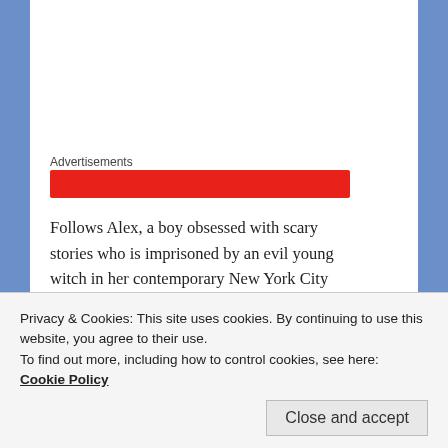Advertisements
Follows Alex, a boy obsessed with scary stories who is imprisoned by an evil young witch in her contemporary New York City apartment.
[Figure (screenshot): Movie card graphic for NIGHTBOOKS (2021) with speech-bubble style title and text: Follows Alex, a boy obsessed with scary]
Privacy & Cookies: This site uses cookies. By continuing to use this website, you agree to their use.
To find out more, including how to control cookies, see here:
Cookie Policy
Close and accept